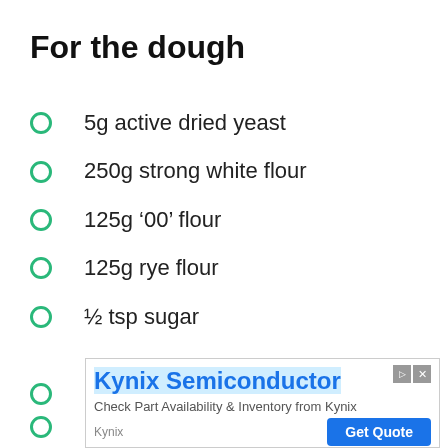For the dough
5g active dried yeast
250g strong white flour
125g '00' flour
125g rye flour
½ tsp sugar
1 tsp olive oil
[Figure (other): Advertisement banner for Kynix Semiconductor: 'Check Part Availability & Inventory from Kynix'. Includes a Get Quote button.]